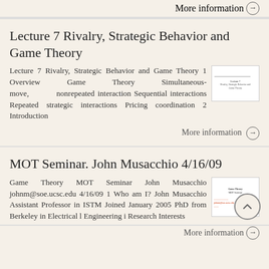More information →
Lecture 7 Rivalry, Strategic Behavior and Game Theory
Lecture 7 Rivalry, Strategic Behavior and Game Theory 1 Overview Game Theory Simultaneous-move, nonrepeated interaction Sequential interactions Repeated strategic interactions Pricing coordination 2 Introduction
More information →
MOT Seminar. John Musacchio 4/16/09
Game Theory MOT Seminar John Musacchio johnm@soe.ucsc.edu 4/16/09 1 Who am I? John Musacchio Assistant Professor in ISTM Joined January 2005 PhD from Berkeley in Electrical l Engineering i Research Interests
More information →